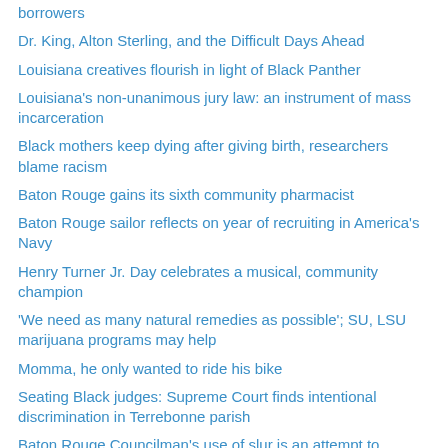borrowers
Dr. King, Alton Sterling, and the Difficult Days Ahead
Louisiana creatives flourish in light of Black Panther
Louisiana's non-unanimous jury law: an instrument of mass incarceration
Black mothers keep dying after giving birth, researchers blame racism
Baton Rouge gains its sixth community pharmacist
Baton Rouge sailor reflects on year of recruiting in America's Navy
Henry Turner Jr. Day celebrates a musical, community champion
'We need as many natural remedies as possible'; SU, LSU marijuana programs may help
Momma, he only wanted to ride his bike
Seating Black judges: Supreme Court finds intentional discrimination in Terrebonne parish
Baton Rouge Councilman's use of slur is an attempt to intimidate, bully
Movin' on Up in Louisiana–or Not
Dialogue on race necessary to move Louisiana beyond fear
300 Black women sought for Polycystic Ovary Syndrome research
Baker native serves on Navy's largest warship
Community support turns Facebook postings into published book